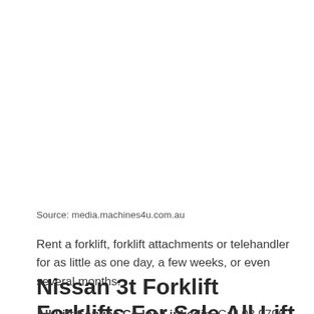Source: media.machines4u.com.au
Rent a forklift, forklift attachments or telehandler for as little as one day, a few weeks, or even several months.
Nissan 3t Forklift Forklifts For Sale All Lift Forklifts
All Lift Service Co Inc Linkedin. Call 03 9796 3299 for